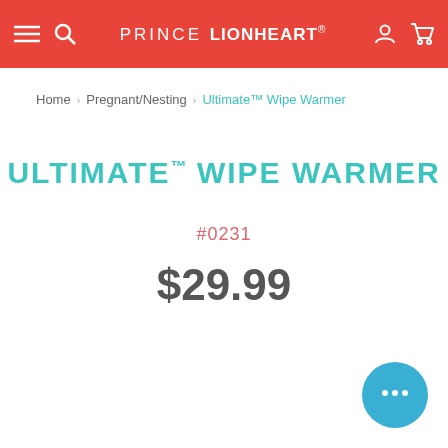PRINCE LIONHEART®
Home > Pregnant/Nesting > Ultimate™ Wipe Warmer
ULTIMATE™ WIPE WARMER
#0231
$29.99